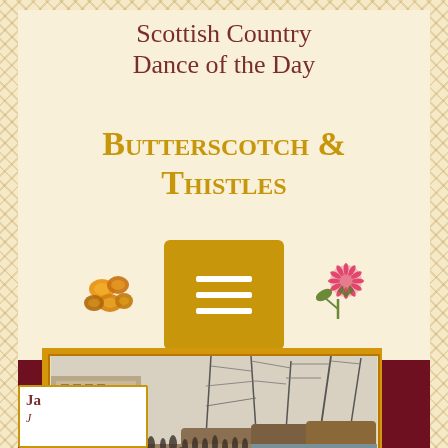Scottish Country Dance of the Day
Butterscotch & Thistles
[Figure (illustration): Decorative row with butterscotch candies, golden menu button icon, and thistle flower]
[Figure (illustration): Historical engraving of a busy harbor scene with sailing ships, crowd of people on dock, and multi-story buildings]
Ja J